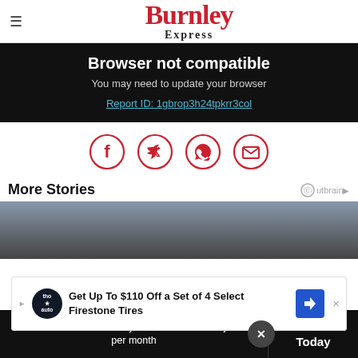Burnley Express
Browser not compatible
You may need to update your browser
Report ID: 1gbrop3h24tpkrr3col
[Figure (infographic): Social sharing icons: Facebook, Twitter, WhatsApp, Email — red circle outlines with white icons]
More Stories
[Figure (photo): Partial photo of a person, cropped at top]
Get Up To $110 Off a Set of 4 Select Firestone Tires
Get 70% fewer ads. Start your 2-month trial for just £2 per month
Subscribe Today